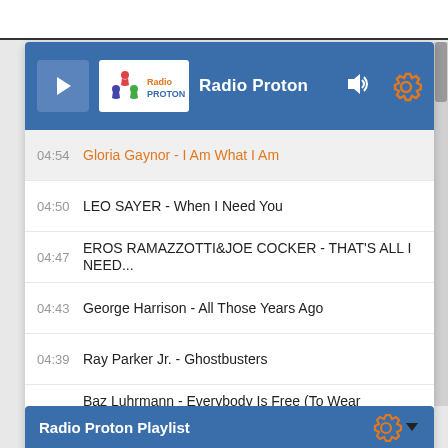[Figure (screenshot): Radio Proton web radio player interface showing station header with play button, Radio Proton logo, volume and settings icons. Below is a playlist with timestamped tracks. Active track: 04:54 Gloria Gaynor - I Am What I Am (in orange). Other tracks: 04:50 LEO SAYER - When I Need You, 04:47 EROS RAMAZZOTTI&JOE COCKER - THAT'S ALL I NEED..., 04:43 George Harrison - All Those Years Ago, 04:39 Ray Parker Jr. - Ghostbusters, 04:32 Baz Luhrmann - Everybody Is Free (To Wear Sunscree), 04:27 GEORGE BAKER - PARIS NIGHT, 04:21 Salif Keita vs. Martin Solveig - Madan (club mix). Footer shows listener count 1 and US flag with count 1. Bottom bar shows Radio Proton Playlist.]